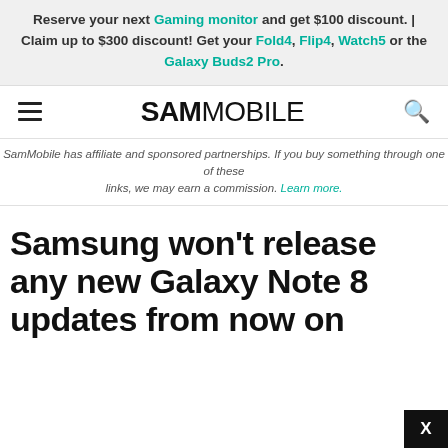Reserve your next Gaming monitor and get $100 discount. | Claim up to $300 discount! Get your Fold4, Flip4, Watch5 or the Galaxy Buds2 Pro.
SAMMOBILE
SamMobile has affiliate and sponsored partnerships. If you buy something through one of these links, we may earn a commission. Learn more.
Samsung won't release any new Galaxy Note 8 updates from now on